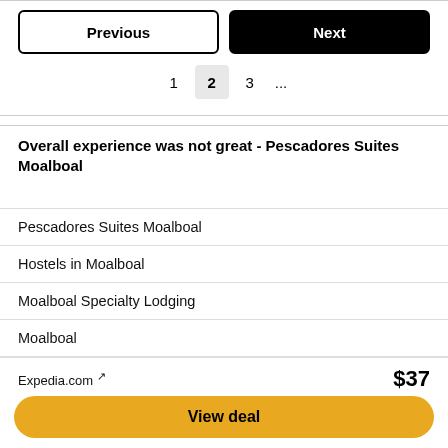Previous
Next
1  2  3  ...
Overall experience was not great - Pescadores Suites Moalboal
Pescadores Suites Moalboal
Hostels in Moalboal
Moalboal Specialty Lodging
Moalboal
Cebu Island
Expedia.com ↗
$37
View deal